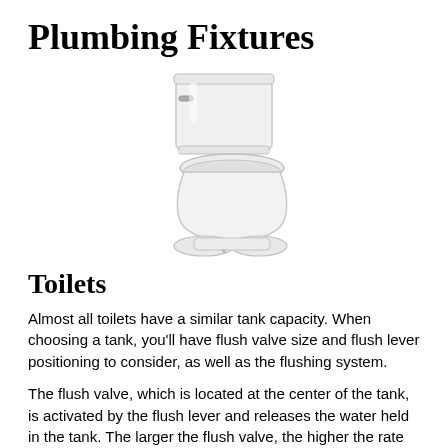Plumbing Fixtures
[Figure (illustration): A white two-piece toilet shown from a three-quarter front view, with a tank featuring a flush lever on the left side and a closed seat lid.]
Toilets
Almost all toilets have a similar tank capacity. When choosing a tank, you'll have flush valve size and flush lever positioning to consider, as well as the flushing system.
The flush valve, which is located at the center of the tank, is activated by the flush lever and releases the water held in the tank. The larger the flush valve, the higher the rate of water flow. Flush levers are positioned either on the side, front or top